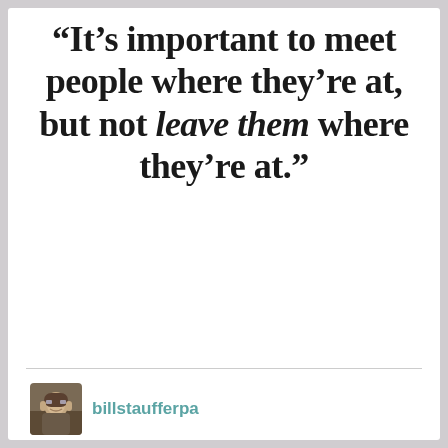“It’s important to meet people where they’re at, but not leave them where they’re at.”
billstaufferpa